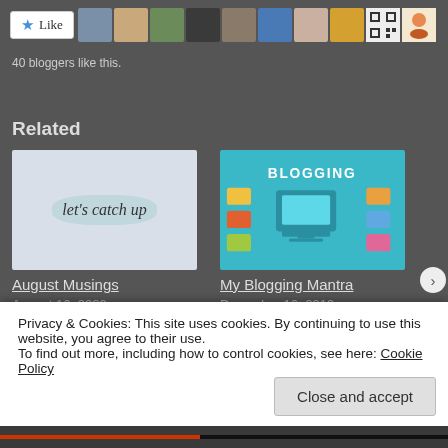[Figure (other): Like button with star icon followed by a row of blogger avatar thumbnails]
40 bloggers like this.
Related
[Figure (illustration): Card image with cursive text 'let's catch up' on a watercolor cloud background]
August Musings
August 16, 2020
[Figure (illustration): Card image with teal background showing blogging icons and 'BLOGGING' text]
My Blogging Mantra
December 16, 2019
Privacy & Cookies: This site uses cookies. By continuing to use this website, you agree to their use.
To find out more, including how to control cookies, see here: Cookie Policy